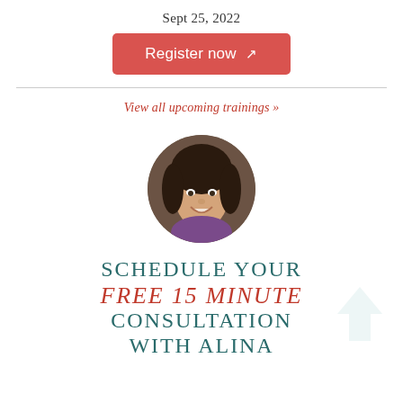Sept 25, 2022
Register now ↗
View all upcoming trainings »
[Figure (photo): Circular headshot photo of a woman with dark hair, smiling]
SCHEDULE YOUR FREE 15 MINUTE CONSULTATION WITH ALINA